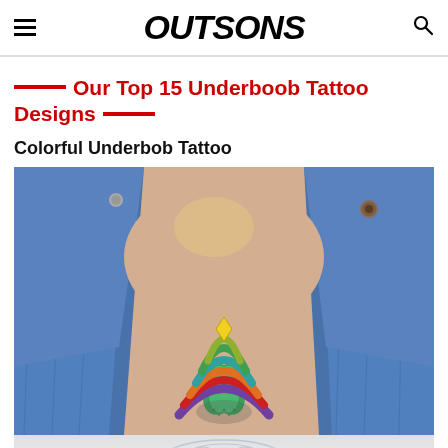OUTSONS
Our Top 15 Underboob Tattoo Designs
Colorful Underbob Tattoo
[Figure (photo): Photo of colorful underboob mandala/lotus tattoo on skin, person wearing open denim jacket. Tattoo features layered chevron/petal shapes in yellow, green, teal, orange, red, and purple with dotwork, centered on the sternum.]